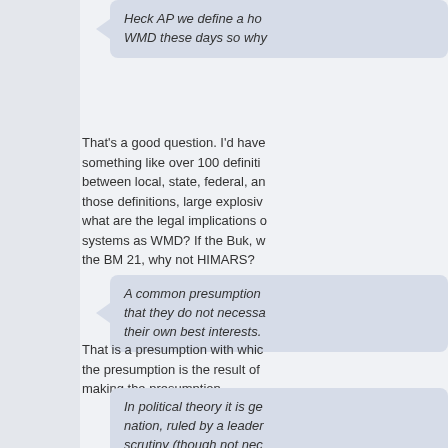Heck AP we define a ho... WMD these days so why...
That's a good question. I'd have... something like over 100 definiti... between local, state, federal, an... those definitions, large explosiv... what are the legal implications o... systems as WMD? If the Buk, w... the BM 21, why not HIMARS?
A common presumption... that they do not necessa... their own best interests.
That is a presumption with whic... the presumption is the result of... making the presumption.
In political theory it is ge... nation, ruled by a leader... scrutiny (though not nec... will tend to act in its own... take actions that are dire... interests, particularly not... states, however, may...